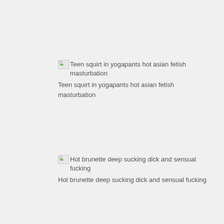[Figure (other): Broken image icon for 'Teen squirt in yogapants hot asian fetish masturbation']
Teen squirt in yogapants hot asian fetish masturbation
[Figure (other): Broken image icon for 'Hot brunette deep sucking dick and sensual fucking']
Hot brunette deep sucking dick and sensual fucking
[Figure (other): Broken image icon for 'Tiny mixed ebony gets her pussy pounded by over sized black dick']
Tiny mixed ebony gets her pussy pounded by